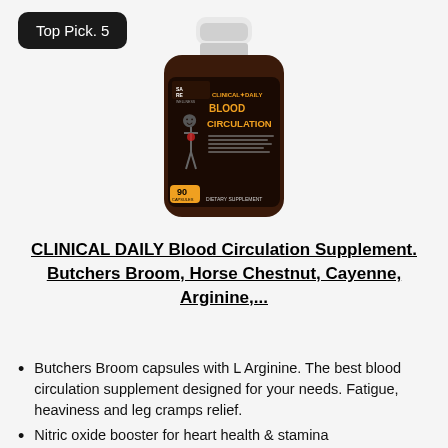Top Pick. 5
[Figure (photo): Product photo of CLINICAL DAILY Blood Circulation supplement bottle. Dark amber bottle with white cap, 90 capsules, dietary supplement label showing 'CLINICAL DAILY BLOOD CIRCULATION' in orange and white text, with a human torso diagram, made by SARE Wellness.]
CLINICAL DAILY Blood Circulation Supplement. Butchers Broom, Horse Chestnut, Cayenne, Arginine,...
Butchers Broom capsules with L Arginine. The best blood circulation supplement designed for your needs. Fatigue, heaviness and leg cramps relief.
Nitric oxide booster for heart health & stamina